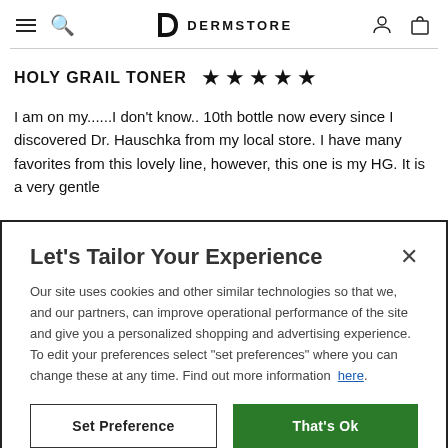DERMSTORE
HOLY GRAIL TONER ★★★★★
I am on my......I don't know.. 10th bottle now every since I discovered Dr. Hauschka from my local store. I have many favorites from this lovely line, however, this one is my HG. It is a very gentle
Let's Tailor Your Experience
Our site uses cookies and other similar technologies so that we, and our partners, can improve operational performance of the site and give you a personalized shopping and advertising experience. To edit your preferences select "set preferences" where you can change these at any time. Find out more information here.